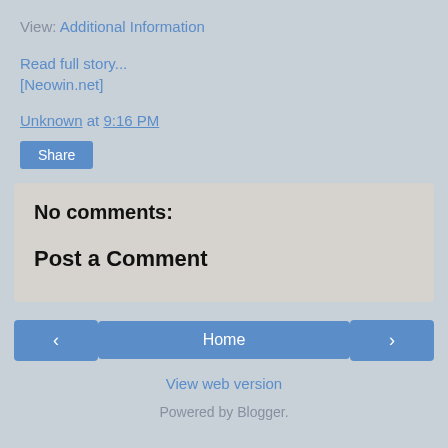View: Additional Information
Read full story...
[Neowin.net]
Unknown at 9:16 PM
Share
No comments:
Post a Comment
< Home >
View web version
Powered by Blogger.